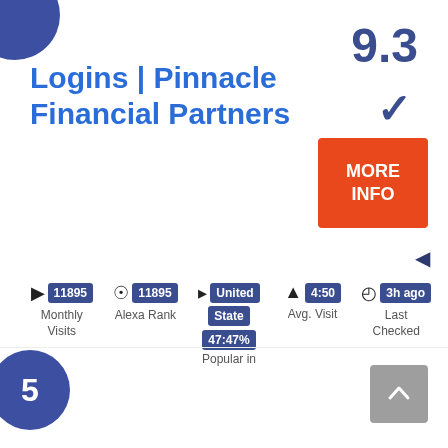Logins | Pinnacle Financial Partners
9.3
[Figure (infographic): Orange MORE INFO button with checkmark above and left-pointing arrow below]
11895 Monthly Visits
11895 Alexa Rank
United State 47:47% Popular in
4:50 Avg. Visit
3h ago Last Checked
5